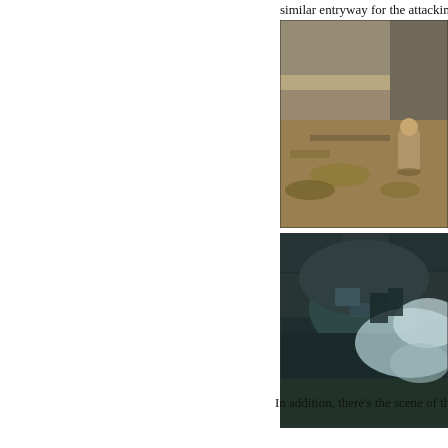similar entryway for the attacking army of orcs.
[Figure (photo): An outdoor scene showing ruins of stone walls with dry vegetation and a cloaked figure walking through a desolate landscape in daylight.]
[Figure (photo): A dark stone tunnel or cave entrance with blue-tinted smoke billowing through it, suggesting an action scene with motion blur.]
In addition, there’s the scene of the arming of th Dale in flames, see from above and looking ver